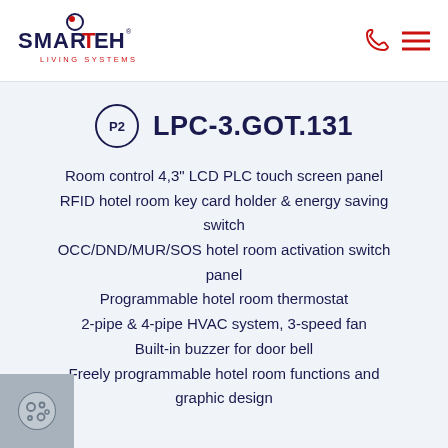SMARTEH LIVING SYSTEMS
LPC-3.GOT.131
Room control 4,3" LCD PLC touch screen panel
RFID hotel room key card holder & energy saving switch
OCC/DND/MUR/SOS hotel room activation switch panel
Programmable hotel room thermostat
2-pipe & 4-pipe HVAC system, 3-speed fan
Built-in buzzer for door bell
Freely programmable hotel room functions and graphic design
[Figure (logo): Cookie/settings icon in grey box at bottom left]